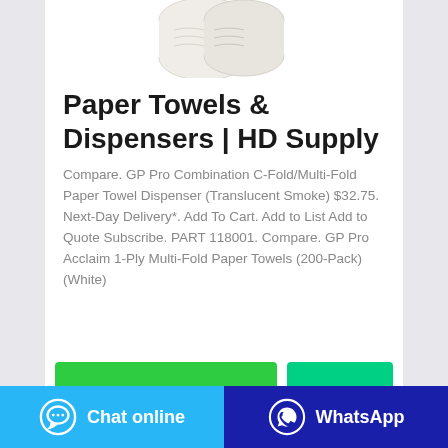[Figure (photo): Product photo of paper towels (white folded paper towels) partially visible at top of card]
Paper Towels & Dispensers | HD Supply
Compare. GP Pro Combination C-Fold/Multi-Fold Paper Towel Dispenser (Translucent Smoke) $32.75. Next-Day Delivery*. Add To Cart. Add to List Add to Quote Subscribe. PART 118001. Compare. GP Pro Acclaim 1-Ply Multi-Fold Paper Towels (200-Pack) (White)
[Figure (screenshot): Two green buttons at bottom of card - a wide green button and a smaller teal/green button]
Chat online   WhatsApp